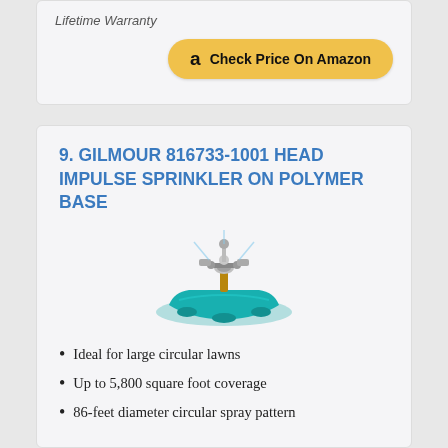Lifetime Warranty
[Figure (logo): Amazon 'Check Price On Amazon' button with Amazon logo]
9. GILMOUR 816733-1001 HEAD IMPULSE SPRINKLER ON POLYMER BASE
[Figure (photo): Gilmour impulse sprinkler on teal polymer base]
Ideal for large circular lawns
Up to 5,800 square foot coverage
86-feet diameter circular spray pattern